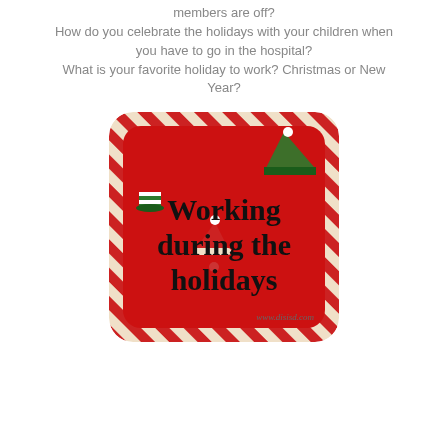members are off?
How do you celebrate the holidays with your children when you have to go in the hospital?
What is your favorite holiday to work? Christmas or New Year?
[Figure (illustration): Red card with diagonal candy-cane stripe border and rounded corners. Text reads 'Working during the holidays' with holiday hat emoji decorations and website www.disisd.com at the bottom.]